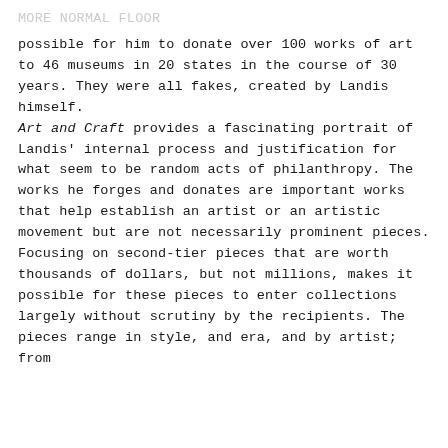MORE NORMAL FLOOR
possible for him to donate over 100 works of art to 46 museums in 20 states in the course of 30 years. They were all fakes, created by Landis himself.
Art and Craft provides a fascinating portrait of Landis' internal process and justification for what seem to be random acts of philanthropy. The works he forges and donates are important works that help establish an artist or an artistic movement but are not necessarily prominent pieces. Focusing on second-tier pieces that are worth thousands of dollars, but not millions, makes it possible for these pieces to enter collections largely without scrutiny by the recipients. The pieces range in style, and era, and by artist; from